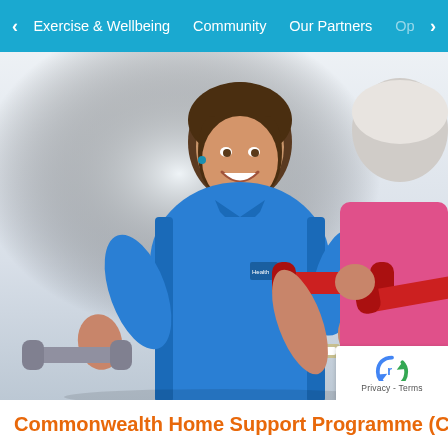< Exercise & Wellbeing   Community   Our Partners   Op >
[Figure (photo): A smiling woman in a blue polo shirt holding grey dumbbells, facing another person in a pink shirt holding red dumbbells, in an exercise/fitness setting. The woman in blue appears to be a fitness instructor encouraging a senior participant.]
Commonwealth Home Support Programme (CHSP)